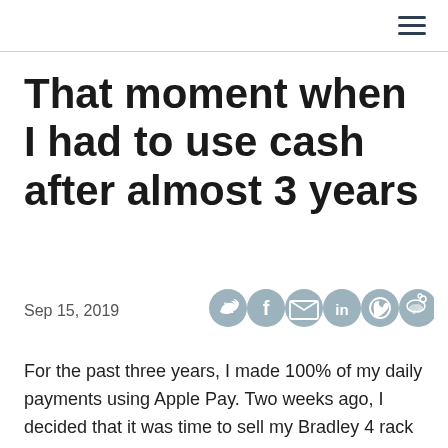≡
That moment when I had to use cash after almost 3 years
Sep 15, 2019
[Figure (other): Social sharing icons: Twitter, Facebook, Email, LinkedIn, WhatsApp, Weibo]
For the past three years, I made 100% of my daily payments using Apple Pay. Two weeks ago, I decided that it was time to sell my Bradley 4 rack smoker on Gumtree and my journey